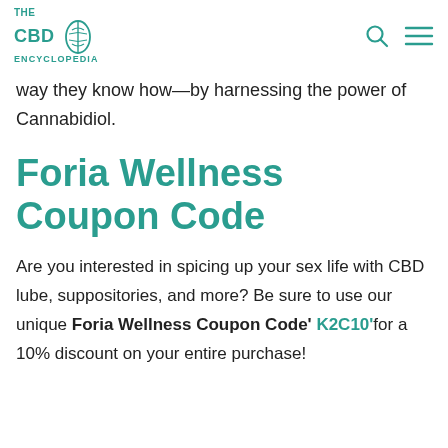THE CBD ENCYCLOPEDIA
way they know how—by harnessing the power of Cannabidiol.
Foria Wellness Coupon Code
Are you interested in spicing up your sex life with CBD lube, suppositories, and more? Be sure to use our unique Foria Wellness Coupon Code' K2C10' for a 10% discount on your entire purchase!